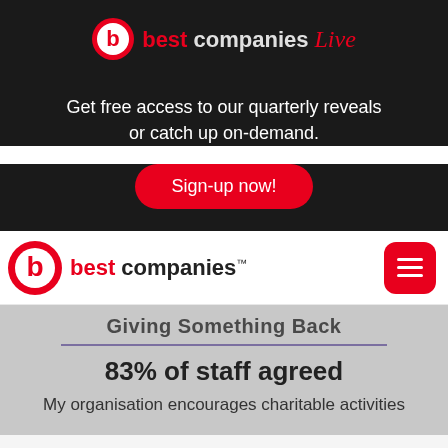[Figure (logo): Best Companies Live logo — circular b logo in red/white, then 'best companies' text in red/white and 'Live' in red italic script]
Get free access to our quarterly reveals or catch up on-demand.
Sign-up now!
[Figure (logo): Best Companies navigation bar logo — red circular b icon and 'best companies' text with TM mark]
Giving Something Back
83% of staff agreed
My organisation encourages charitable activities
There are a number of formal processes that take place at Liverpool Hope University, from team meetings to full departmental or Faculty forums. At the same time, staff